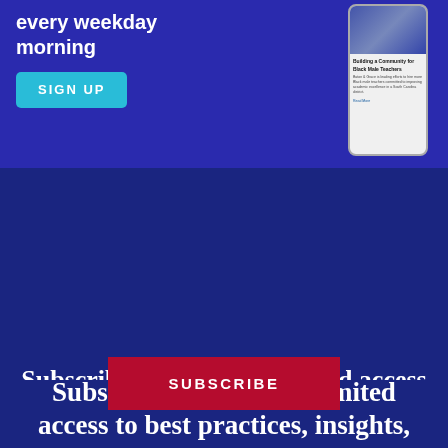[Figure (screenshot): Advertisement banner with dark blue background showing 'every weekday morning' text, a teal SIGN UP button, and a phone displaying an article about 'Building a Community for Black Male Teachers']
1 Free Article(s) Left
Create a free account to get more features and free newsletters.
SUBSCRIBE FOR UNLIMITED ACCESS
collapse
Subscribe today for unlimited access to best practices, insights, and solutions.
SUBSCRIBE